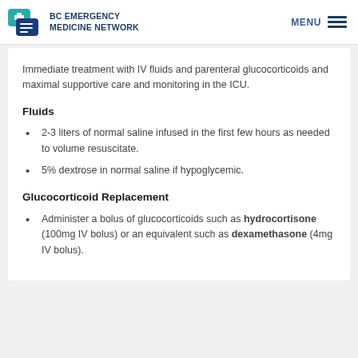BC EMERGENCY MEDICINE NETWORK
Immediate treatment with IV fluids and parenteral glucocorticoids and maximal supportive care and monitoring in the ICU.
Fluids
2-3 liters of normal saline infused in the first few hours as needed to volume resuscitate.
5% dextrose in normal saline if hypoglycemic.
Glucocorticoid Replacement
Administer a bolus of glucocorticoids such as hydrocortisone (100mg IV bolus) or an equivalent such as dexamethasone (4mg IV bolus).